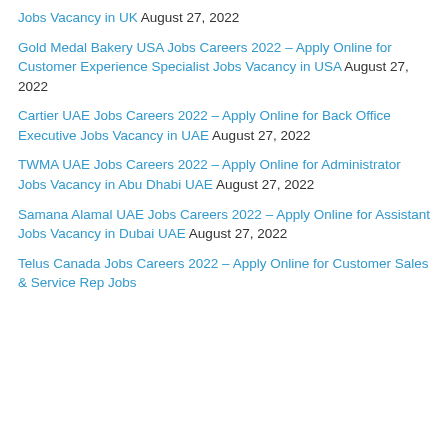Jobs Vacancy in UK August 27, 2022
Gold Medal Bakery USA Jobs Careers 2022 – Apply Online for Customer Experience Specialist Jobs Vacancy in USA August 27, 2022
Cartier UAE Jobs Careers 2022 – Apply Online for Back Office Executive Jobs Vacancy in UAE August 27, 2022
TWMA UAE Jobs Careers 2022 – Apply Online for Administrator Jobs Vacancy in Abu Dhabi UAE August 27, 2022
Samana Alamal UAE Jobs Careers 2022 – Apply Online for Assistant Jobs Vacancy in Dubai UAE August 27, 2022
Telus Canada Jobs Careers 2022 – Apply Online for Customer Sales & Service Rep Jobs